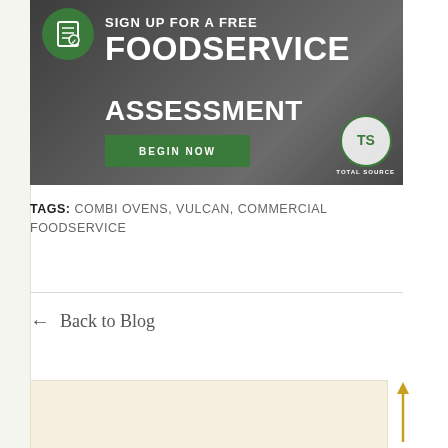[Figure (infographic): Banner advertisement for Free Foodservice Assessment with green circle icon, text 'SIGN UP FOR A FREE FOODSERVICE ASSESSMENT', green 'BEGIN NOW' button, and TotalSource logo in bottom right]
TAGS: COMBI OVENS, VULCAN, COMMERCIAL FOODSERVICE
← Back to Blog